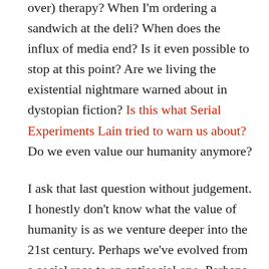over) therapy? When I'm ordering a sandwich at the deli? When does the influx of media end? Is it even possible to stop at this point? Are we living the existential nightmare warned about in dystopian fiction? Is this what Serial Experiments Lain tried to warn us about? Do we even value our humanity anymore?

I ask that last question without judgement. I honestly don't know what the value of humanity is as we venture deeper into the 21st century. Perhaps we've evolved from a social race to an antisocial one. Perhaps that's the natural order of our existence. We've crafted fantasies that allow us to ignore the world as it burns around us. People in power around the globe care less